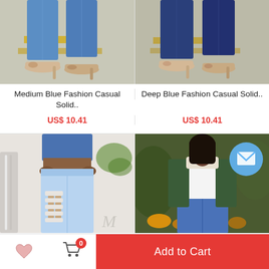[Figure (photo): Close-up of a woman's legs wearing medium blue skinny jeans and beige high-heel mule sandals on pavement]
Medium Blue Fashion Casual Solid..
US$ 10.41
[Figure (photo): Close-up of a woman's legs wearing deep blue skinny jeans and beige high-heel mule sandals on pavement]
Deep Blue Fashion Casual Solid..
US$ 10.41
[Figure (photo): Woman wearing light blue ripped/cutout skinny jeans and a blue crop top, posed on stairs]
[Figure (photo): Woman wearing a dark green jacket over a white crop top and blue jeans, standing outdoors among flowers]